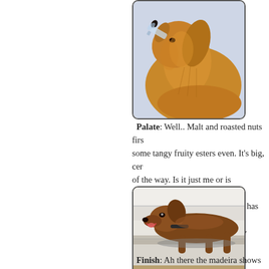[Figure (photo): Golden retriever dog drinking water from a bottle, head tilted up, close-up side profile. Warm brown tones.]
Palate: Well.. Malt and roasted nuts first, some tangy fruity esters even. It's big, certain of the way. Is it just me or is Balvenie's n towards the finish. I wonder if it has some Also low in the woody and spicy departm
[Figure (photo): Brown/tan dog lying on white steps or bleachers, mouth open, looking alert. Outdoor photo.]
Finish: Ah there the madeira shows itsel grippy again.